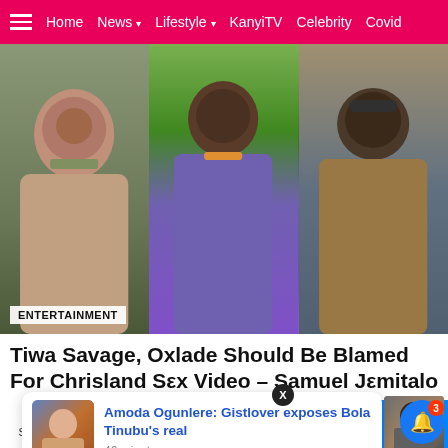Home  News  Lifestyle  KanyiTV  Celebrity  Covid
[Figure (photo): Collage of three celebrities: a woman with glasses on the left, a man in a purple shirt in the center, and a man in a brown jacket with sunglasses on the right. ENTERTAINMENT label overlaid at bottom left.]
Tiwa Savage, Oxlade Should Be Blamed For Chrisland Sex Video – Samuel Jemitalo
Amoda Ogunlere: Gistlover exposes Bola Tinubu's real
46 minutes ago
21 Shares  [Facebook] [Twitter] [WhatsApp] [Messenger]